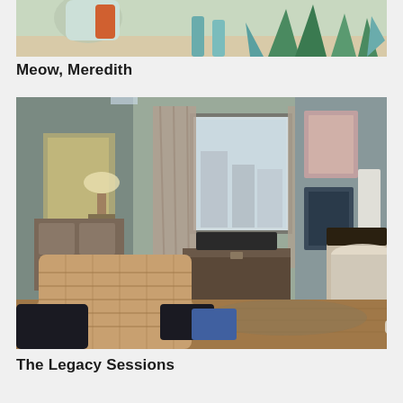[Figure (photo): Cropped photo showing plants including agave and tropical foliage with a person partially visible, appears to be an outdoor or garden scene with sandy ground]
Meow, Meredith
[Figure (photo): Indoor bedroom scene showing a person in dark clothing and beanie sitting on the floor with headphones, leaning against a bed. Room has wicker basket, dresser with mirror, window with curtains, vintage trunk, and artwork/posters on walls. Warm wooden floor.]
The Legacy Sessions